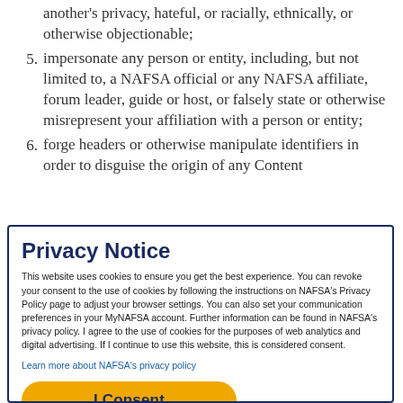another's privacy, hateful, or racially, ethnically, or otherwise objectionable;
5. impersonate any person or entity, including, but not limited to, a NAFSA official or any NAFSA affiliate, forum leader, guide or host, or falsely state or otherwise misrepresent your affiliation with a person or entity;
6. forge headers or otherwise manipulate identifiers in order to disguise the origin of any Content
Privacy Notice
This website uses cookies to ensure you get the best experience. You can revoke your consent to the use of cookies by following the instructions on NAFSA's Privacy Policy page to adjust your browser settings. You can also set your communication preferences in your MyNAFSA account. Further information can be found in NAFSA's privacy policy. I agree to the use of cookies for the purposes of web analytics and digital advertising. If I continue to use this website, this is considered consent.
Learn more about NAFSA's privacy policy
I Consent